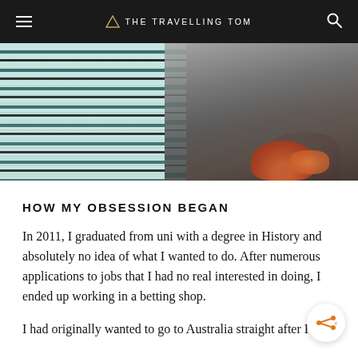THE TRAVELLING TOM
[Figure (photo): Person wearing a striped white and blue/black t-shirt, with what appears to be a red/orange crab or lobster visible on the right side of the image.]
HOW MY OBSESSION BEGAN
In 2011, I graduated from uni with a degree in History and absolutely no idea of what I wanted to do. After numerous applications to jobs that I had no real interested in doing, I ended up working in a betting shop.
I had originally wanted to go to Australia straight after I